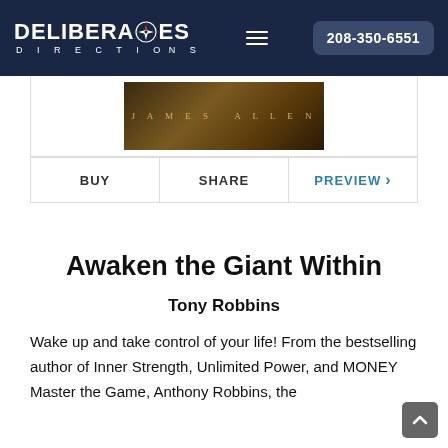DELIBERATE DIRECTIONS | 208-350-6551
[Figure (screenshot): Book cover image showing 'JAMES ALLEN' text on a dark golden-brown textured background]
BUY | SHARE | PREVIEW >
Awaken the Giant Within
Tony Robbins
Wake up and take control of your life! From the bestselling author of Inner Strength, Unlimited Power, and MONEY Master the Game, Anthony Robbins, the